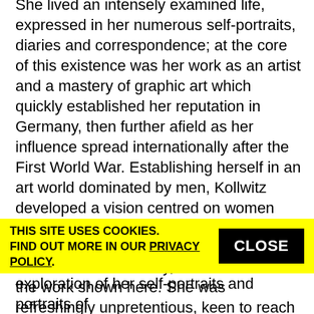She lived an intensely examined life, expressed in her numerous self-portraits, diaries and correspondence; at the core of this existence was her work as an artist and a mastery of graphic art which quickly established her reputation in Germany, then further afield as her influence spread internationally after the First World War. Establishing herself in an art world dominated by men, Kollwitz developed a vision centred on women and the working class.
Kollwitz's unique artistic talent, her technical prowess and intelligence, and above all her humanity, can be seen in the work shown here. She was refreshingly unpretentious, keen to reach as many as possible, the general public as well as art specialists, and content that her art "should have purpose outside itself".
THIS SITE USES COOKIES. FIND OUT MORE IN OUR PRIVACY POLICY.
exploration of her self-portraits and portraits of